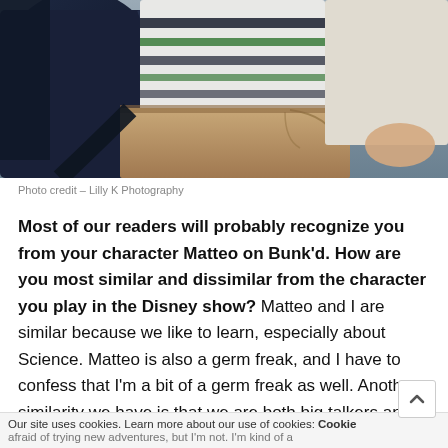[Figure (photo): Partial view of a child's torso and hands, wearing a navy blazer over a white and green striped shirt, with tan/brown pants. Background is gray/blurred. Photo credit: Lilly K Photography.]
Photo credit – Lilly K Photography
Most of our readers will probably recognize you from your character Matteo on Bunk'd. How are you most similar and dissimilar from the character you play in the Disney show? Matteo and I are similar because we like to learn, especially about Science. Matteo is also a germ freak, and I have to confess that I'm a bit of a germ freak as well. Another similarity we have is that we are both big talkers and like to share facts with the people around us. One of the differences we have is that he i… afraid of trying new adventures, but I'm not. I'm kind of a
Our site uses cookies. Learn more about our use of cookies: Cookie